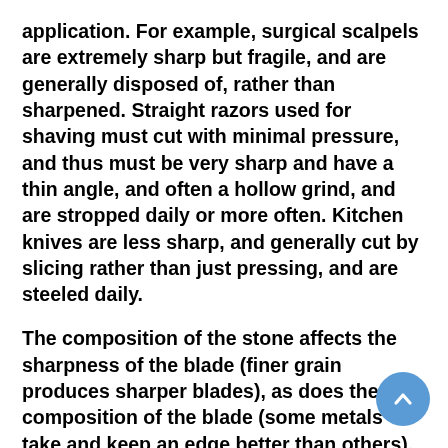application. For example, surgical scalpels are extremely sharp but fragile, and are generally disposed of, rather than sharpened. Straight razors used for shaving must cut with minimal pressure, and thus must be very sharp and have a thin angle, and often a hollow grind, and are stropped daily or more often. Kitchen knives are less sharp, and generally cut by slicing rather than just pressing, and are steeled daily.
The composition of the stone affects the sharpness of the blade (finer grain produces sharper blades), as does the composition of the blade (some metals take and keep an edge better than others). For example, Western kitchen knives are traditionally of softer steel and take an edge angle of 20–22°, while East Asian kitchen